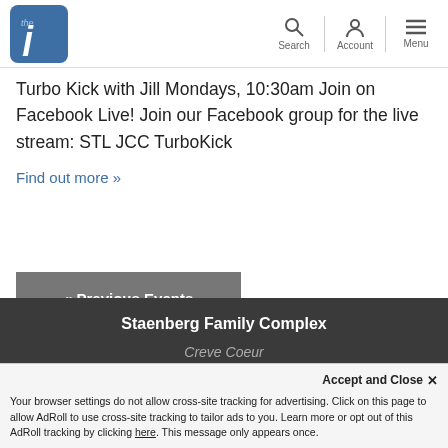the J [logo] | Search | Account | Menu
Turbo Kick with Jill Mondays, 10:30am Join on Facebook Live! Join our Facebook group for the live stream: STL JCC TurboKick
Find out more »
« Previous Events
Staenberg Family Complex
Creve Coeur
Accept and Close ✕ Your browser settings do not allow cross-site tracking for advertising. Click on this page to allow AdRoll to use cross-site tracking to tailor ads to you. Learn more or opt out of this AdRoll tracking by clicking here. This message only appears once.